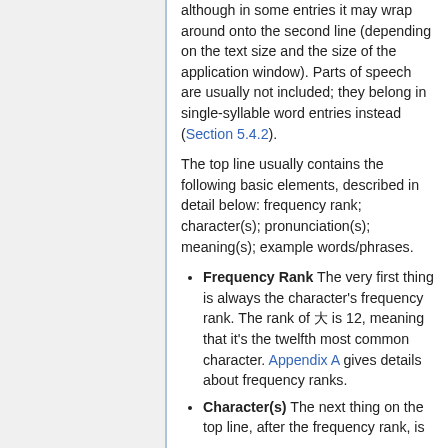although in some entries it may wrap around onto the second line (depending on the text size and the size of the application window). Parts of speech are usually not included; they belong in single-syllable word entries instead (Section 5.4.2).
The top line usually contains the following basic elements, described in detail below: frequency rank; character(s); pronunciation(s); meaning(s); example words/phrases.
Frequency Rank The very first thing is always the character's frequency rank. The rank of □ is 12, meaning that it's the twelfth most common character. Appendix A gives details about frequency ranks.
Character(s) The next thing on the top line, after the frequency rank, is